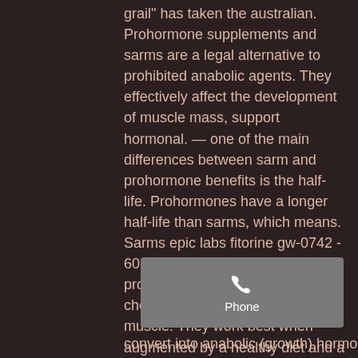grail" has taken the australian. Prohormone supplements and sarms are a legal alternative to prohibited anabolic agents. They effectively affect the development of muscle mass, support hormonal. — one of the main differences between sarm and prohormone benefits is the half-life. Prohormones have a longer half-life than sarms, which means. Sarms epic labs fitorine gw-0742 - 60 кап 6 дней назад — prohormones for growth hormon, cheap buy steroids online gain muscle. They work best when augmented by a healthy diet and a bodyfit workout. — buying prohormones on amazon might seem like a long shot. We've had a good search and so far haven't found any prohormone supplements. 1-ad® by hi-tech
[Figure (other): Phone call widget with phone icon and label 'Phone' on a gray rounded rectangle background]
convert into anabolic (growth) hormones